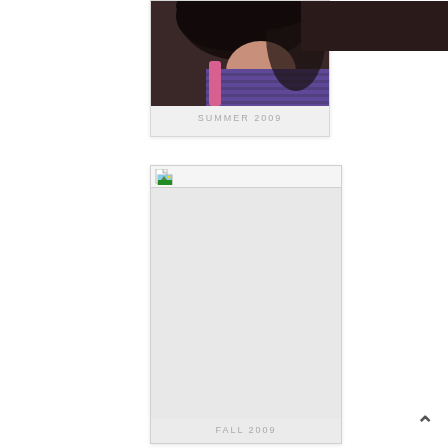[Figure (photo): Partial polaroid photo showing top portion - cropped image of person with dark hair wearing striped purple/blue top with pink strap, Summer 2009 label below]
SUMMER 2009
[Figure (photo): Polaroid card with broken/missing image placeholder icon at top, large gray empty photo area below, Fall 2009 label at bottom]
FALL 2009